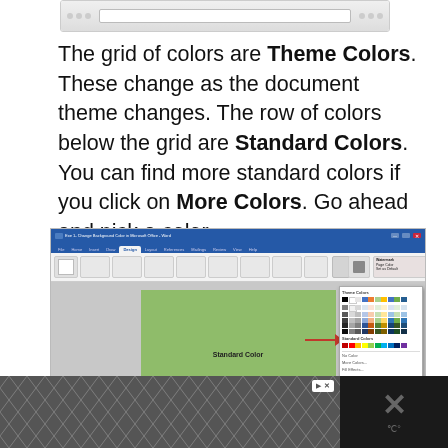[Figure (screenshot): Partial screenshot of Microsoft Word window showing top browser/title bar]
The grid of colors are Theme Colors. These change as the document theme changes. The row of colors below the grid are Standard Colors. You can find more standard colors if you click on More Colors. Go ahead and pick a color.
[Figure (screenshot): Screenshot of Microsoft Word with a green page background (Standard Color selected) and a color picker popup open on the right side showing Theme Colors grid, Standard Colors row, No Color, More Colors options. A red arrow points to the Standard Colors row in the picker.]
[Figure (screenshot): Advertisement banner at the bottom with geometric pattern and X icons]